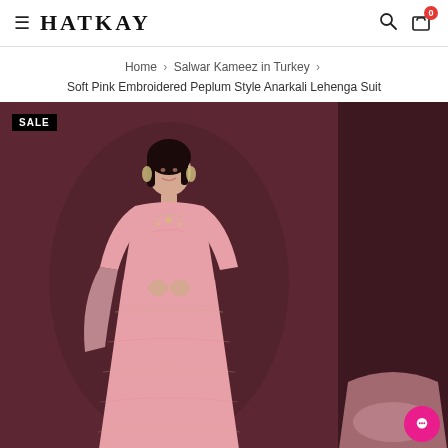HATKAY
Home › Salwar Kameez in Turkey › Soft Pink Embroidered Peplum Style Anarkali Lehenga Suit
[Figure (photo): A woman wearing a soft pink embroidered peplum style Anarkali Lehenga Suit, standing against a dark maroon/brown background. A 'SALE' badge is visible in the top left of the image. A second partially visible product image is shown to the right.]